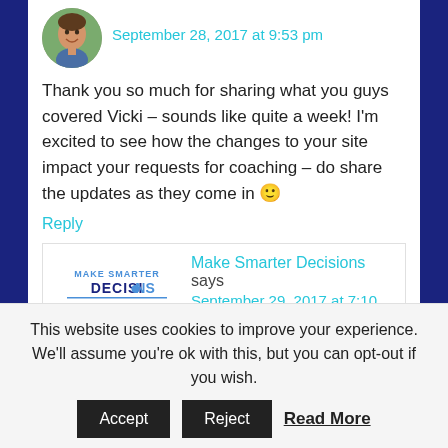September 28, 2017 at 9:53 pm
Thank you so much for sharing what you guys covered Vicki – sounds like quite a week! I'm excited to see how the changes to your site impact your requests for coaching – do share the updates as they come in 🙂
Reply
Make Smarter Decisions says
September 29, 2017 at 7:10 am
This website uses cookies to improve your experience. We'll assume you're ok with this, but you can opt-out if you wish.
Accept
Reject
Read More